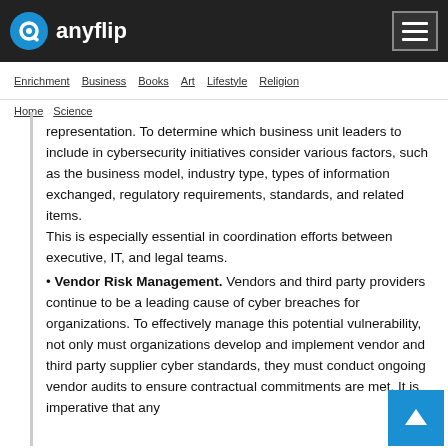anyflip
Enrichment  Business  Books  Art  Lifestyle  Religion
Home  Science
representation. To determine which business unit leaders to include in cybersecurity initiatives consider various factors, such as the business model, industry type, types of information exchanged, regulatory requirements, standards, and related items. This is especially essential in coordination efforts between executive, IT, and legal teams.
• Vendor Risk Management. Vendors and third party providers continue to be a leading cause of cyber breaches for organizations. To effectively manage this potential vulnerability, not only must organizations develop and implement vendor and third party supplier cyber standards, they must conduct ongoing vendor audits to ensure contractual commitments are met. It is imperative that any